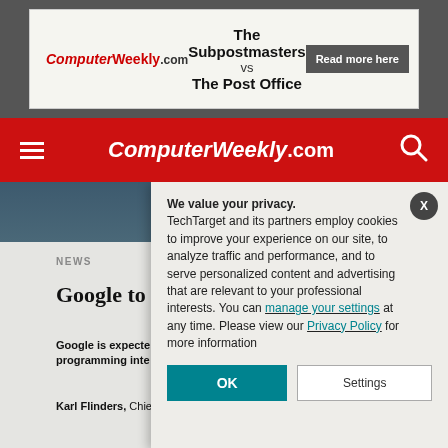[Figure (screenshot): ComputerWeekly.com advertisement banner: 'The Subpostmasters vs The Post Office' with Read more here button]
ComputerWeekly.com navigation bar with hamburger menu and search icon
We value your privacy. TechTarget and its partners employ cookies to improve your experience on our site, to analyze traffic and performance, and to serve personalized content and advertising that are relevant to your professional interests. You can manage your settings at any time. Please view our Privacy Policy for more information
NEWS
Google to la
Google is expecte programming inte
Karl Flinders, Chief